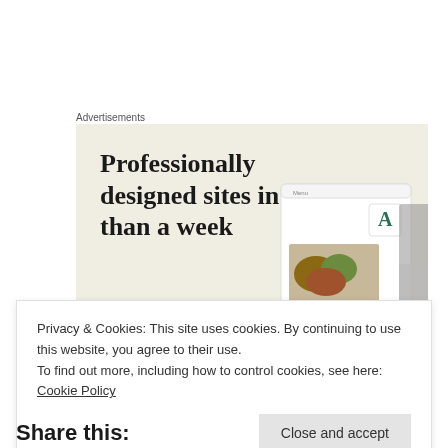Advertisements
[Figure (screenshot): Advertisement banner with beige background. Headline text: 'Professionally designed sites in less than a week'. Green 'Explore options' button. Mockup of website screens shown on the right side.]
Privacy & Cookies: This site uses cookies. By continuing to use this website, you agree to their use.
To find out more, including how to control cookies, see here: Cookie Policy
Close and accept
Share this: